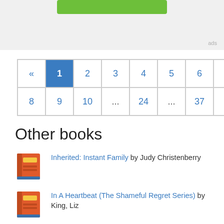[Figure (other): Top advertisement area with a green button and 'ads' label]
« 1 2 3 4 5 6 7 8 9 10 ... 24 ... 37 »
Other books
Inherited: Instant Family by Judy Christenberry
In A Heartbeat (The Shameful Regret Series) by King, Liz
For All Eternity (The Black Rose Chronicles) by Miller, Linda Lael
Andy Kaufman Revealed! by Bob Zmuda